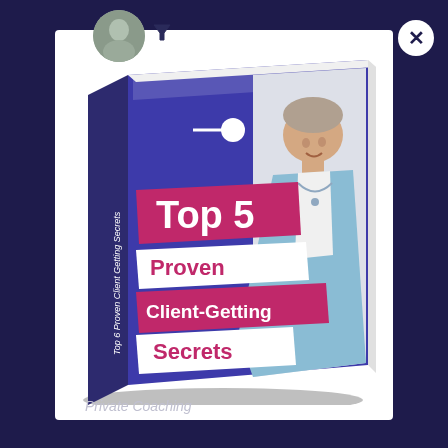[Figure (illustration): A 3D rendered book cover for 'Top 5 Proven Client-Getting Secrets' displayed as a popup/modal overlay on a dark navy background. The book has a purple/blue cover with a photo of a smiling middle-aged woman with short hair wearing a light blue blazer. The spine text reads 'Top 6 Proven Client Getting Secrets'. Pink/magenta banners show the title text. A white close button (×) appears in the upper right of the modal. A partial circular avatar and filter icon are visible at the top left. 'Private Coaching' text appears at the bottom.]
Private Coaching